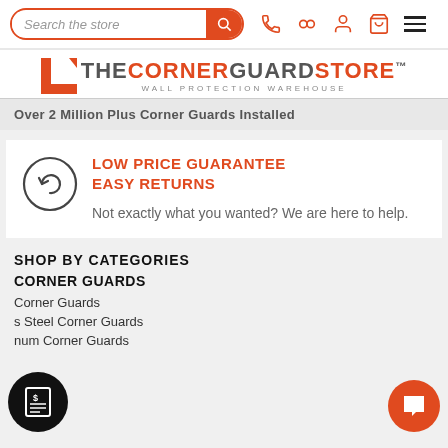[Figure (screenshot): Navigation bar with search box, icons for phone, binoculars, user, cart, and hamburger menu]
[Figure (logo): The Corner Guard Store logo - Wall Protection Warehouse]
Over 2 Million Plus Corner Guards Installed
LOW PRICE GUARANTEE
EASY RETURNS
Not exactly what you wanted? We are here to help.
SHOP BY CATEGORIES
CORNER GUARDS
Corner Guards
s Steel Corner Guards
num Corner Guards